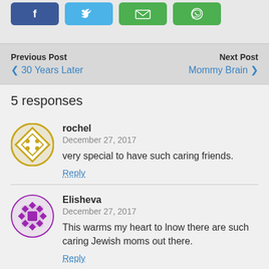[Figure (screenshot): Social share buttons: Facebook (blue), Twitter (light blue), Email (green), WhatsApp (green)]
Previous Post
‹ 30 Years Later
Next Post
Mommy Brain ›
5 responses
[Figure (illustration): rochel avatar: golden diamond shape with dots]
rochel
December 27, 2017
very special to have such caring friends.
Reply
[Figure (illustration): Elisheva avatar: purple geometric snowflake/tile pattern]
Elisheva
December 27, 2017
This warms my heart to lnow there are such caring Jewish moms out there.
Reply